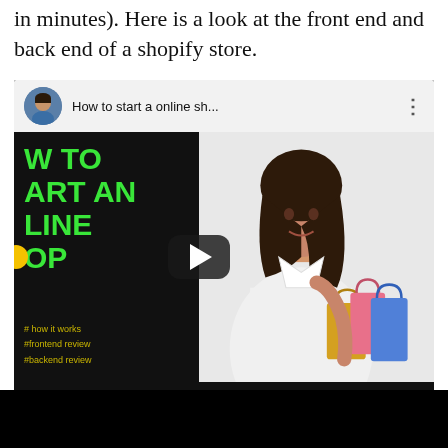in minutes). Here is a look at the front end and back end of a shopify store.
[Figure (screenshot): YouTube video embed showing a video titled 'How to start a online sh...' with a thumbnail split into a dark left panel with green bold text reading 'HOW TO START AN ONLINE SHOP' and hashtags '#how it works #frontend review #backend review', and a right panel showing a woman carrying shopping bags. A play button overlay is visible in the center.]